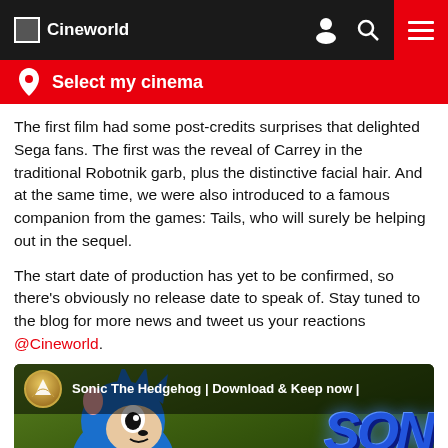Cineworld
Select my cinema
The first film had some post-credits surprises that delighted Sega fans. The first was the reveal of Carrey in the traditional Robotnik garb, plus the distinctive facial hair. And at the same time, we were also introduced to a famous companion from the games: Tails, who will surely be helping out in the sequel.
The start date of production has yet to be confirmed, so there’s obviously no release date to speak of. Stay tuned to the blog for more news and tweet us your reactions @Cineworld.
[Figure (screenshot): YouTube video thumbnail for Sonic The Hedgehog Download & Keep now, showing animated Sonic character running with the Paramount logo and Sonic movie title branding]